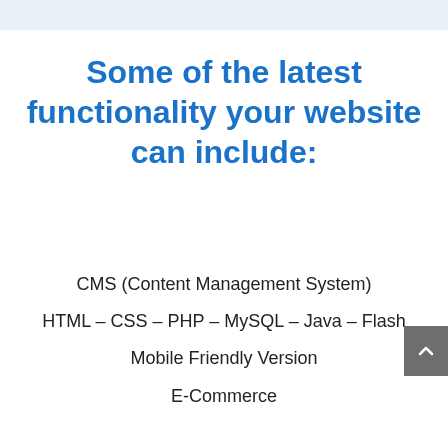Some of the latest functionality your website can include:
CMS (Content Management System)
HTML – CSS – PHP – MySQL – Java – Flash
Mobile Friendly Version
E-Commerce